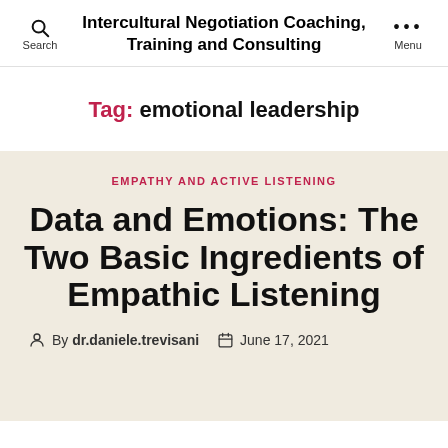Intercultural Negotiation Coaching, Training and Consulting
Tag: emotional leadership
EMPATHY AND ACTIVE LISTENING
Data and Emotions: The Two Basic Ingredients of Empathic Listening
By dr.daniele.trevisani   June 17, 2021